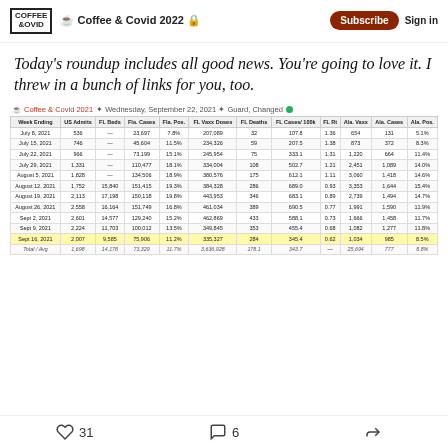Coffee & Covid 2022 | Subscribe | Sign in
Today's roundup includes all good news. You're going to love it. I threw in a bunch of links for you, too.
| Week Ending | US Admits | FL Beds | Fla. Cases | Fla. Pos. | FL Vaxx Doses | FL Deaths | FL Cases/100k | FL Rt | Ala. Vaxx | Ala. Cases | Ala. Pos. |
| --- | --- | --- | --- | --- | --- | --- | --- | --- | --- | --- | --- |
| July 8, 2021 | 536 | — | 23,697 | 7.8% | 207,089 | 32 | 107.8 | 1.36 | 654 | 131 | 5.1% |
| July 15, 2021 | 746 | — | 45,604 | 11.5% | 234,326 | 59 | 207.5 | 1.38 | 873 | 372 | 8.3% |
| July 22, 2021 | 966 | — | 73,199 | 15.1% | 245,954 | 75 | 333.1 | 1.31 | 1,220 | 664 | 11.4% |
| July 29, 2021 | 1,331 | — | 110,477 | 18.1% | 334,004 | 108 | 502.7 | 1.21 | 2,451 | 1,089 | 14.0% |
| August 5, 2021 | 1,828 | — | 134,506 | 18.9% | 380,576 | 175 | 612.1 | 1.11 | 3,060 | 1,418 | 14.6% |
| August 12, 2021 | 1,752 | 15,840 | 151,415 | 19.3% | 384,328 | 286 | 689.0 | 0.93 | 3,353 | 1,644 | 15.4% |
| August 19, 2021 | 2,113 | 17,198 | 150,118 | 19.8% | 443,953 | 346 | 683.1 | 0.89 | 2,739 | 1,494 | 14.7% |
| August 26, 2021 | 2,558 | 16,164 | 151,749 | 16.8% | 461,034 | 389 | 690.5 | 0.77 | 1,991 | 1,590 | 11.9% |
| Sept 2, 2021 | 2,601 | 14,577 | 129,240 | 15.2% | 462,869 | 433 | 588.1 | 0.73 | 1,666 | 1,458 | 11.7% |
| Sept 9, 2021 | 2,224 | 11,703 | 100,012 | 13.5% | 349,845 | 353 | 455.4 | 0.68 | 1,082 | 1,277 | 11.8% |
| Sept 16, 2021 | 2,007 | 9,585 | 75,906 | 11.2% | 335,327 | 284 | 345.4 | 0.62 | 1,034 | 985 | 8.5% |
| Total / Avg | 1,698 | 14,178 | 73,329 | 11.7% | 3,636,928 | 178.1 | 343.7 | — | 25,694 | 777 | 8.8% |
31 likes | 6 comments | share